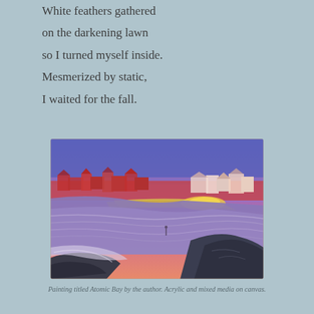White feathers gathered
on the darkening lawn
so I turned myself inside.
Mesmerized by static,
I waited for the fall.
[Figure (illustration): A colorful acrylic painting titled 'Atomic Bay' showing a coastal scene with a purple-blue ocean bay, a sandy beach with golden light, red and pink buildings/town on the horizon under a violet and blue sky, and dark rocky cliffs in the foreground right. A small figure is visible on the beach.]
Painting titled Atomic Bay by the author. Acrylic and mixed media on canvas.